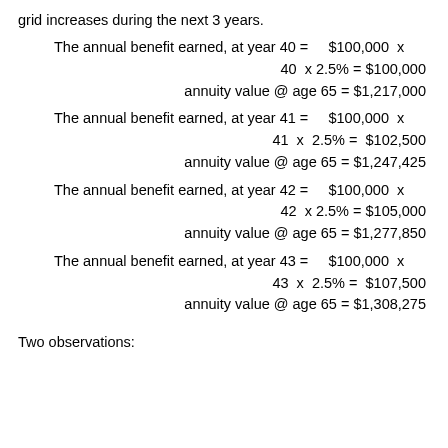grid increases during the next 3 years.
The annual benefit earned, at year 40 = $100,000 x 40 x 2.5% = $100,000 annuity value @ age 65 = $1,217,000
The annual benefit earned, at year 41 = $100,000 x 41 x 2.5% = $102,500 annuity value @ age 65 = $1,247,425
The annual benefit earned, at year 42 = $100,000 x 42 x 2.5% = $105,000 annuity value @ age 65 = $1,277,850
The annual benefit earned, at year 43 = $100,000 x 43 x 2.5% = $107,500 annuity value @ age 65 = $1,308,275
Two observations: